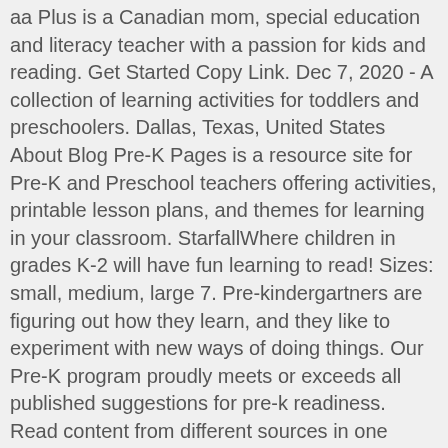aa Plus is a Canadian mom, special education and literacy teacher with a passion for kids and reading. Get Started Copy Link. Dec 7, 2020 - A collection of learning activities for toddlers and preschoolers. Dallas, Texas, United States About Blog Pre-K Pages is a resource site for Pre-K and Preschool teachers offering activities, printable lesson plans, and themes for learning in your classroom. StarfallWhere children in grades K-2 will have fun learning to read! Sizes: small, medium, large 7. Pre-kindergartners are figuring out how they learn, and they like to experiment with new ways of doing things. Our Pre-K program proudly meets or exceeds all published suggestions for pre-k readiness. Read content from different sources in one place. Helpful Links for Pre-School. I (basically answer to any and all). Tot school and pre-kindergarten learning experiences. The mission of The Summit Preparatory School is to provide students with an empowering education in a supportive, stimulating environment. The Summit Preparatory School | Pre-Kindergarten Blog. Suitable for Kindergarten through Grade 6. Blogs, RSS, Youtube channels, Podcast, Magazines, etc.